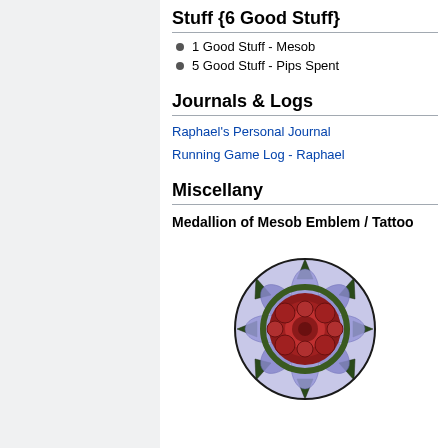Stuff {6 Good Stuff}
1 Good Stuff - Mesob
5 Good Stuff - Pips Spent
Journals & Logs
Raphael's Personal Journal
Running Game Log - Raphael
Miscellany
Medallion of Mesob Emblem / Tattoo
[Figure (illustration): A decorative mandala-style emblem featuring red roses arranged in a circular pattern with dark green leaf-like spikes and purple/blue swirling background elements, resembling a tattoo or medallion design.]